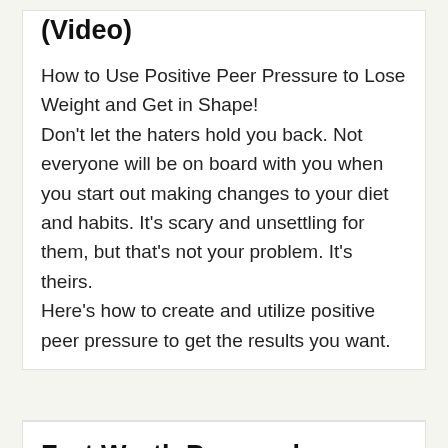(Video)
How to Use Positive Peer Pressure to Lose Weight and Get in Shape!
Don't let the haters hold you back. Not everyone will be on board with you when you start out making changes to your diet and habits. It's scary and unsettling for them, but that's not your problem. It's theirs.
Here's how to create and utilize positive peer pressure to get the results you want.
Fort Worth Personal Training: AFTERBURN 30m BODYWEIGHT WORKOUT